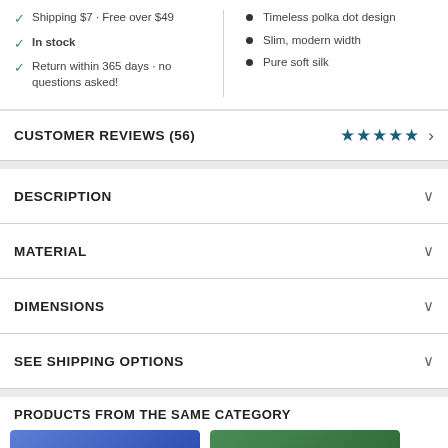Shipping $7 - Free over $49
In stock
Return within 365 days - no questions asked!
Timeless polka dot design
Slim, modern width
Pure soft silk
CUSTOMER REVIEWS (56)
DESCRIPTION
MATERIAL
DIMENSIONS
SEE SHIPPING OPTIONS
PRODUCTS FROM THE SAME CATEGORY
[Figure (photo): Blue tie product image]
[Figure (photo): Green tie product image]